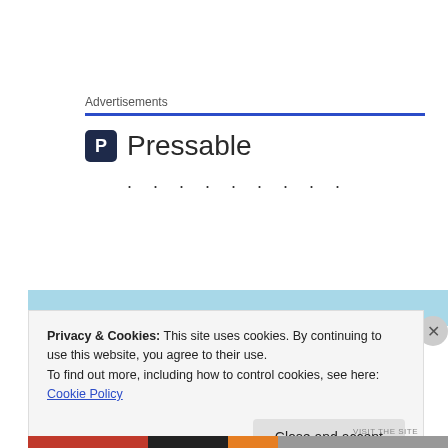Advertisements
[Figure (logo): Pressable logo — dark square icon with letter P followed by the word Pressable in large sans-serif text, with a row of dots below]
Privacy & Cookies: This site uses cookies. By continuing to use this website, you agree to their use.
To find out more, including how to control cookies, see here: Cookie Policy
Close and accept